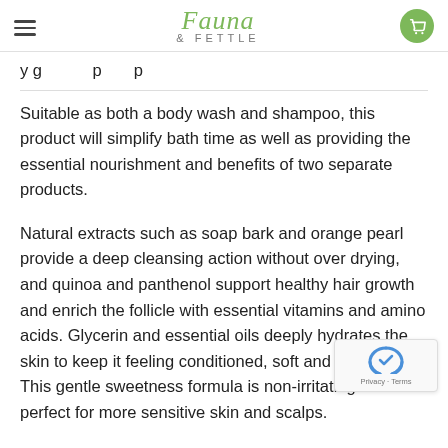Fauna & Fettle
y g p p
Suitable as both a body wash and shampoo, this product will simplify bath time as well as providing the essential nourishment and benefits of two separate products.
Natural extracts such as soap bark and orange pearl provide a deep cleansing action without over drying, and quinoa and panthenol support healthy hair growth and enrich the follicle with essential vitamins and amino acids. Glycerin and essential oils deeply hydrates the skin to keep it feeling conditioned, soft and smooth. This gentle sweetness formula is non-irritating and perfect for more sensitive skin and scalps.
The Sweetness range has the benefits of:
Australian Native Orange Pearl Extract: